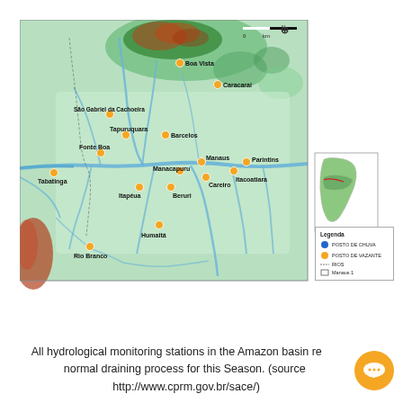[Figure (map): Topographic map of the Amazon basin showing hydrological monitoring stations (orange dots) at various cities including Boa Vista, Caracarai, São Gabriel da Cachoeira, Tapuruquara, Barcelos, Fonte Boa, Manacapuru, Manaus, Parintins, Itacoatiara, Tabatinga, Itapéua, Beruri, Careiro, Humaitá, Rio Branco. Inset map shows South America with the Amazon basin highlighted. Legend shows blue dot for POSTO DE CHUVA, orange dot for POSTO DE VAZANTE, dashed line for RIOS, and rectangle for Manaus 1.]
All hydrological monitoring stations in the Amazon basin report normal draining process for this Season. (source: http://www.cprm.gov.br/sace/)